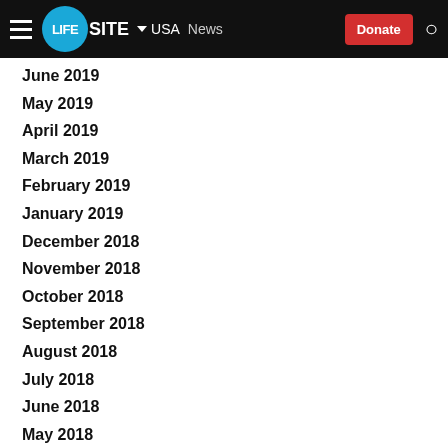LifeSite | USA | News | Donate
June 2019
May 2019
April 2019
March 2019
February 2019
January 2019
December 2018
November 2018
October 2018
September 2018
August 2018
July 2018
June 2018
May 2018
April 2018
March 2018
February 2018